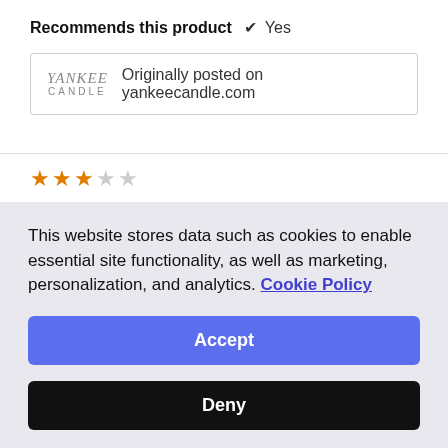Recommends this product ✔ Yes
[Figure (logo): Yankee Candle logo with text 'Originally posted on yankeecandle.com']
★★★☆☆ WilliamsJ · 10 months ago
Verified Purchaser
Fairly satisfied
This website stores data such as cookies to enable essential site functionality, as well as marketing, personalization, and analytics. Cookie Policy
Accept
Deny